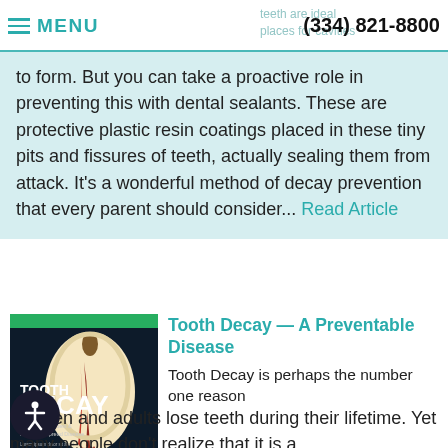MENU | (334) 821-8800 | teeth are ideal places for cavities
to form. But you can take a proactive role in preventing this with dental sealants. These are protective plastic resin coatings placed in these tiny pits and fissures of teeth, actually sealing them from attack. It's a wonderful method of decay prevention that every parent should consider... Read Article
[Figure (photo): Book/magazine cover showing a cross-section of a tooth with the title 'TOOTH DECAY – The World's Oldest & Most Widespread Disease' on a dark background]
Tooth Decay — A Preventable Disease
Tooth Decay is perhaps the number one reason children and adults lose teeth during their lifetime. Yet many people don't realize that it is a